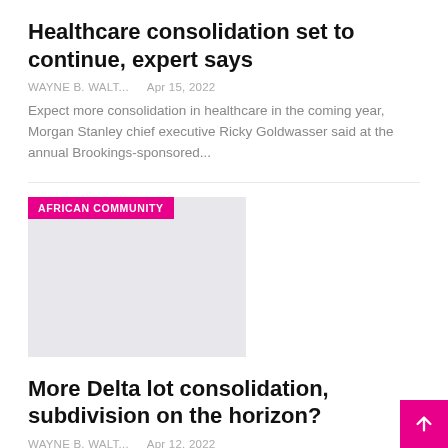Healthcare consolidation set to continue, expert says
WAYNE B. WALT...    Apr 15, 2022
Expect more consolidation in healthcare in the coming year, Morgan Stanley chief executive Ricky Goldwasser said at the annual Brookings-sponsored...
[Figure (photo): Image placeholder with 'AFRICAN COMMUNITY' tag label in magenta]
More Delta lot consolidation, subdivision on the horizon?
WAYNE B. WALT...    Apr 12, 2022
Tsawwassen Lands Consolidation and Rezoning Proposal Still Under Review by Staff A group of Tsawwassen residents are loudly opposing a